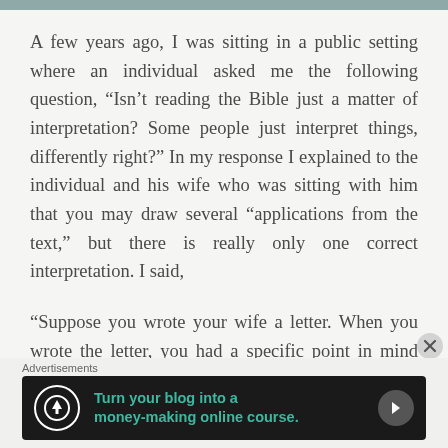A few years ago, I was sitting in a public setting where an individual asked me the following question, “Isn’t reading the Bible just a matter of interpretation? Some people just interpret things, differently right?” In my response I explained to the individual and his wife who was sitting with him that you may draw several “applications from the text,” but there is really only one correct interpretation. I said,

“Suppose you wrote your wife a letter. When you wrote the letter, you had a specific point in mind (maybe several), but the point is that you are expecting your wife to understand your
Advertisements
[Figure (infographic): Advertisement banner: dark background with circular tree logo icon, teal text reading 'Turn your blog into a money-making online course.' with a right arrow button.]